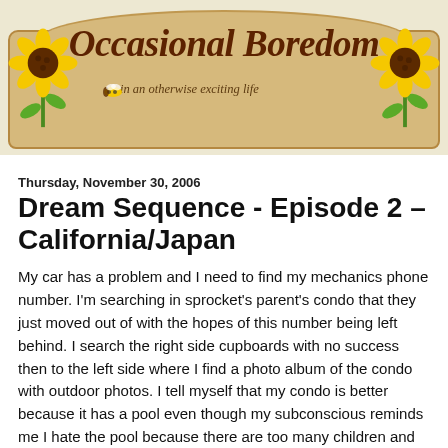[Figure (illustration): Blog header banner for 'Occasional Boredom - in an otherwise exciting life' with wooden sign aesthetic, sunflowers on each side, and a small bee illustration]
Thursday, November 30, 2006
Dream Sequence - Episode 2 – California/Japan
My car has a problem and I need to find my mechanics phone number. I'm searching in sprocket's parent's condo that they just moved out of with the hopes of this number being left behind. I search the right side cupboards with no success then to the left side where I find a photo album of the condo with outdoor photos. I tell myself that my condo is better because it has a pool even though my subconscious reminds me I hate the pool because there are too many children and distractions. However, the photos are beautiful and suddenly a girl watching me asks why I'm looking at her